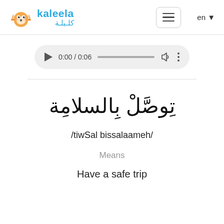[Figure (logo): Kaleela fox mascot logo with text 'kaleela' in blue Latin script and 'كليلة' in blue Arabic script]
[Figure (screenshot): Browser audio player widget showing 0:00 / 0:06 with play button, progress bar, volume icon, and more options icon]
تِوصَّلْ بِالسلامِة
/tiwSal bissalaameh/
Means
Have a safe trip